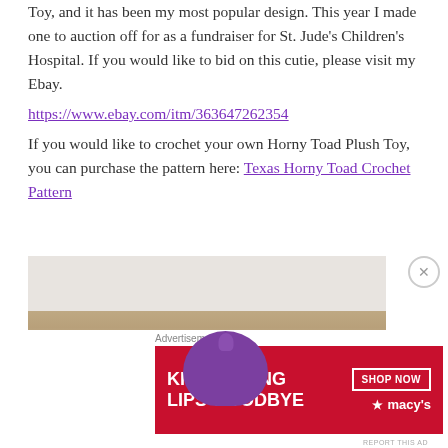Toy, and it has been my most popular design. This year I made one to auction off for as a fundraiser for St. Jude's Children's Hospital. If you would like to bid on this cutie, please visit my Ebay.
https://www.ebay.com/itm/363647262354

If you would like to crochet your own Horny Toad Plush Toy, you can purchase the pattern here: Texas Horny Toad Crochet Pattern
[Figure (photo): Four crocheted horny toad plush toys sitting in a row on a tiled floor against a white brick wall. From left to right: a tan/yellow one, a gray one, a purple one in the center, a gray one, and a green one on the right.]
Advertisements
[Figure (photo): Macy's advertisement banner with red background. Left side shows a close-up of a woman's face focusing on red lips. Text reads 'KISS BORING LIPS GOODBYE' with a 'SHOP NOW' button and Macy's star logo on the right.]